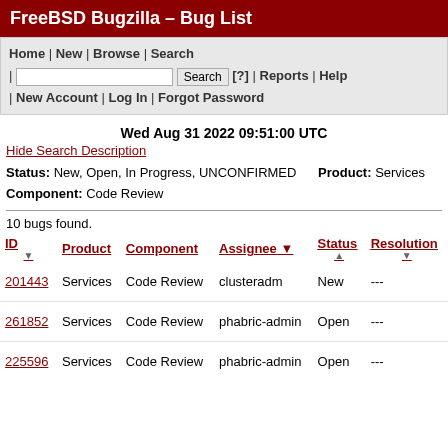FreeBSD Bugzilla – Bug List
Home | New | Browse | Search | [search box] Search [?] | Reports | Help | New Account | Log In | Forgot Password
Wed Aug 31 2022 09:51:00 UTC
Hide Search Description
Status: New, Open, In Progress, UNCONFIRMED   Product: Services
Component: Code Review
10 bugs found.
| ID | Product | Component | Assignee ▼ | Status | Resolution |
| --- | --- | --- | --- | --- | --- |
| 201443 | Services | Code Review | clusteradm | New | --- |
| 261852 | Services | Code Review | phabric-admin | Open | --- |
| 225596 | Services | Code Review | phabric-admin | Open | --- |